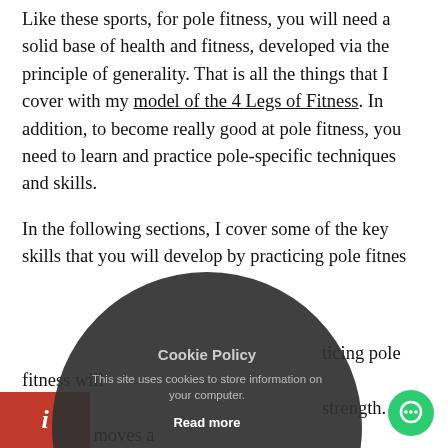Like these sports, for pole fitness, you will need a solid base of health and fitness, developed via the principle of generality. That is all the things that I cover with my model of the 4 Legs of Fitness. In addition, to become really good at pole fitness, you need to learn and practice pole-specific techniques and skills.
In the following sections, I cover some of the key skills that you will develop by practicing pole fitness.
[Figure (screenshot): Cookie Policy popup overlay — dark circular modal with title 'Cookie Policy', body text 'This site uses cookies to store information on your computer.', 'Read more' link, and two round buttons: green checkmark (accept) and red X (reject).]
...ticing pole fitness will ...strength. A lot of the moves a... ...milar to gymnastics exercises that engage the